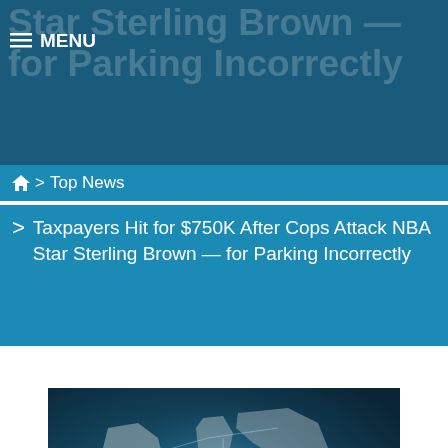Star Sterling Brown — for Parking Incorrectly
≡ MENU
🏠 > Top News
Taxpayers Hit for $750K After Cops Attack NBA Star Sterling Brown — for Parking Incorrectly
[Figure (logo): Real Verified News logo over a globe/world map graphic with teal/dark blue tones and network connection lines]